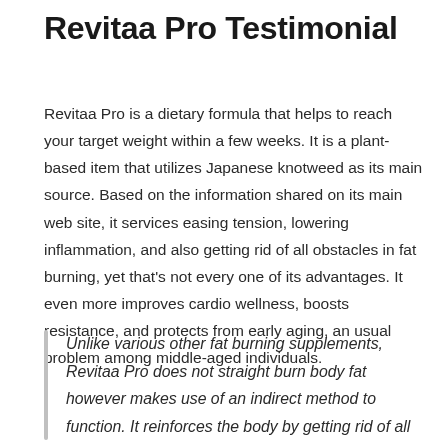Revitaa Pro Testimonial
Revitaa Pro is a dietary formula that helps to reach your target weight within a few weeks. It is a plant-based item that utilizes Japanese knotweed as its main source. Based on the information shared on its main web site, it services easing tension, lowering inflammation, and also getting rid of all obstacles in fat burning, yet that's not every one of its advantages. It even more improves cardio wellness, boosts resistance, and protects from early aging, an usual problem among middle-aged individuals.
Unlike various other fat burning supplements, Revitaa Pro does not straight burn body fat however makes use of an indirect method to function. It reinforces the body by getting rid of all underlying factors that might make